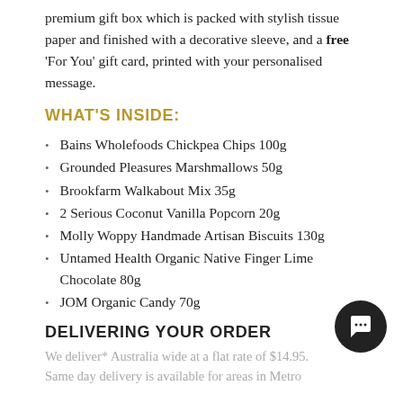premium gift box which is packed with stylish tissue paper and finished with a decorative sleeve, and a free 'For You' gift card, printed with your personalised message.
WHAT'S INSIDE:
Bains Wholefoods Chickpea Chips 100g
Grounded Pleasures Marshmallows 50g
Brookfarm Walkabout Mix 35g
2 Serious Coconut Vanilla Popcorn 20g
Molly Woppy Handmade Artisan Biscuits 130g
Untamed Health Organic Native Finger Lime Chocolate 80g
JOM Organic Candy 70g
DELIVERING YOUR ORDER
We deliver* Australia wide at a flat rate of $14.95. Same day delivery is available for areas in Metro